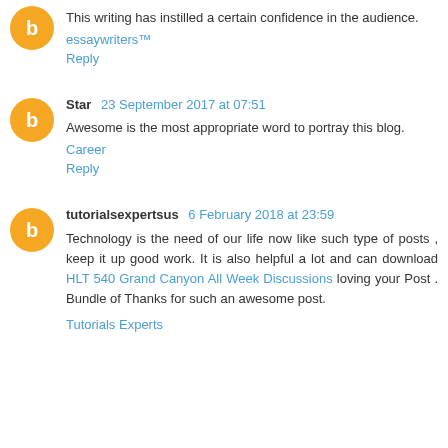This writing has instilled a certain confidence in the audience.
essaywriters™
Reply
Star 23 September 2017 at 07:51
Awesome is the most appropriate word to portray this blog.
Career
Reply
tutorialsexpertsus 6 February 2018 at 23:59
Technology is the need of our life now like such type of posts , keep it up good work. It is also helpful a lot and can download HLT 540 Grand Canyon All Week Discussions loving your Post . Bundle of Thanks for such an awesome post.
Tutorials Experts